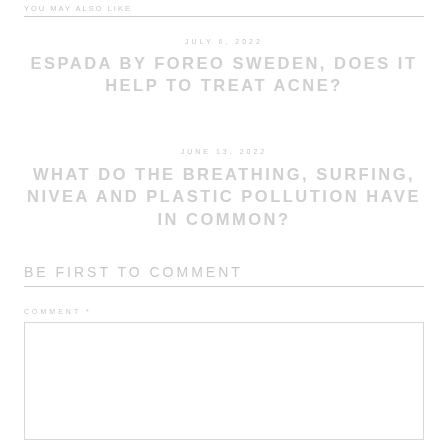YOU MAY ALSO LIKE
JULY 6, 2022
ESPADA BY FOREO SWEDEN, DOES IT HELP TO TREAT ACNE?
JUNE 13, 2022
WHAT DO THE BREATHING, SURFING, NIVEA AND PLASTIC POLLUTION HAVE IN COMMON?
BE FIRST TO COMMENT
COMMENT *